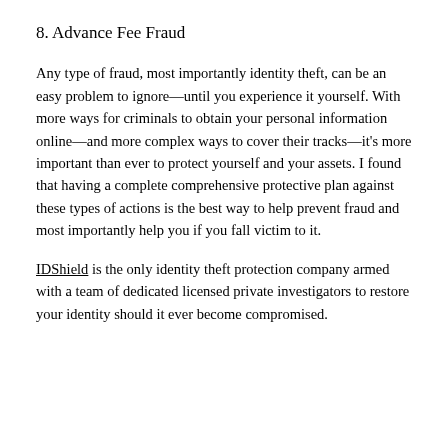8. Advance Fee Fraud
Any type of fraud, most importantly identity theft, can be an easy problem to ignore—until you experience it yourself. With more ways for criminals to obtain your personal information online—and more complex ways to cover their tracks—it's more important than ever to protect yourself and your assets. I found that having a complete comprehensive protective plan against these types of actions is the best way to help prevent fraud and most importantly help you if you fall victim to it.
IDShield is the only identity theft protection company armed with a team of dedicated licensed private investigators to restore your identity should it ever become compromised.